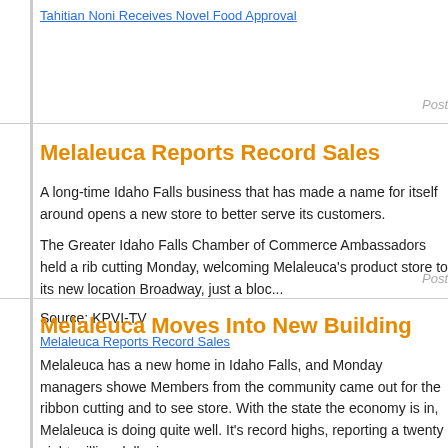Tahitian Noni Receives Novel Food Approval
Post
Melaleuca Reports Record Sales
A long-time Idaho Falls business that has made a name for itself around opens a new store to better serve its customers.
The Greater Idaho Falls Chamber of Commerce Ambassadors held a rib cutting Monday, welcoming Melaleuca's product store to its new location Broadway, just a bloc...
Source: KPVI-TV
Melaleuca Reports Record Sales
Post
Melaleuca Moves Into New Building
Melaleuca has a new home in Idaho Falls, and Monday managers showe Members from the community came out for the ribbon cutting and to see store. With the state the economy is in, Melaleuca is doing quite well. It's record highs, reporting a twenty eight million dollar increa...